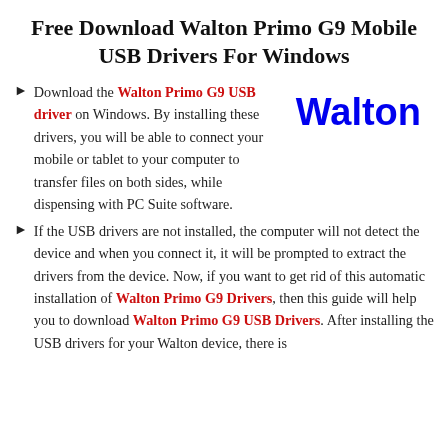Free Download Walton Primo G9 Mobile USB Drivers For Windows
Download the Walton Primo G9 USB driver on Windows. By installing these drivers, you will be able to connect your mobile or tablet to your computer to transfer files on both sides, while dispensing with PC Suite software.
[Figure (logo): Walton brand name in bold blue text]
If the USB drivers are not installed, the computer will not detect the device and when you connect it, it will be prompted to extract the drivers from the device. Now, if you want to get rid of this automatic installation of Walton Primo G9 Drivers, then this guide will help you to download Walton Primo G9 USB Drivers. After installing the USB drivers for your Walton device, there is